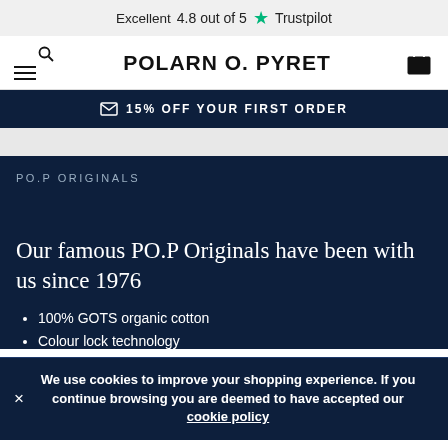Excellent 4.8 out of 5 ★ Trustpilot
[Figure (logo): Polarn O. Pyret logo with hamburger menu, search icon, and shopping bag icon]
✉ 15% OFF YOUR FIRST ORDER
PO.P ORIGINALS
Our famous PO.P Originals have been with us since 1976
100% GOTS organic cotton
Colour lock technology
We use cookies to improve your shopping experience. If you continue browsing you are deemed to have accepted our cookie policy